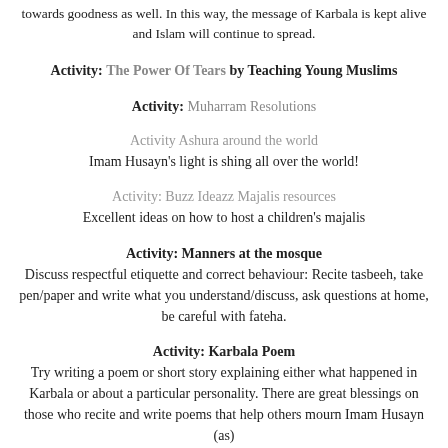towards goodness as well. In this way, the message of Karbala is kept alive and Islam will continue to spread.
Activity: The Power Of Tears by Teaching Young Muslims
Activity: Muharram Resolutions
Activity Ashura around the world
Imam Husayn's light is shing all over the world!
Activity: Buzz Ideazz Majalis resources
Excellent ideas on how to host a children's majalis
Activity: Manners at the mosque
Discuss respectful etiquette and correct behaviour: Recite tasbeeh, take pen/paper and write what you understand/discuss, ask questions at home, be careful with fateha.
Activity: Karbala Poem
Try writing a poem or short story explaining either what happened in Karbala or about a particular personality. There are great blessings on those who recite and write poems that help others mourn Imam Husayn (as)